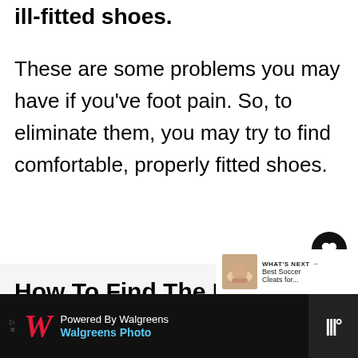ill-fitted shoes.
These are some problems you may have if you've foot pain. So, to eliminate them, you may try to find comfortable, properly fitted shoes.
How To Find The Best Soccer Cleats?
[Figure (other): What's Next panel showing Best Soccer Cleats thumbnail with foot image]
[Figure (other): Walgreens advertisement bar: Powered By Walgreens, Walgreens Photo with diamond icon and W logo]